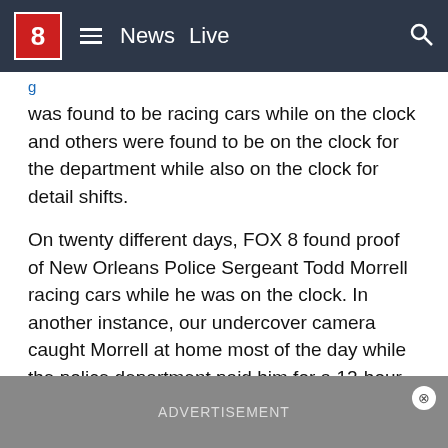8 News Live
was found to be racing cars while on the clock and others were found to be on the clock for the department while also on the clock for detail shifts.
On twenty different days, FOX 8 found proof of New Orleans Police Sergeant Todd Morrell racing cars while he was on the clock. In another instance, our undercover camera caught Morrell at home most of the day while the police department paid him for a 12-hour off-duty security detail patrol in the Fairgrounds neighborhood.
One source tells FOX 8 Morrell is among the NOPD officers under federal investigation. Morrell retired from the department following FOX 8's reports.
ADVERTISEMENT